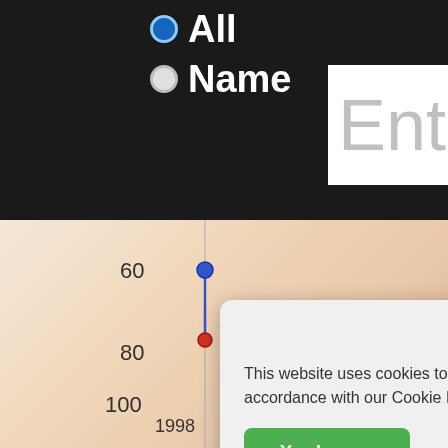[Figure (screenshot): Website screenshot showing: top black navigation bar with 'All' radio option (filled blue) and 'Name' radio option (empty), partial 'Ent' text input box on the right; below is a partially visible line chart with y-axis labels 60, 80, 100 and x-axis label 1998 and 10, with a blue data point near 60 and a red data point near 80, connected by a blue line descending.]
We use cookies
This website uses cookies to improve user experience. By using our website you consent to all cookies in accordance with our Cookie Policy.
Yes I agree
I disagree
Read more
Free cookie consent by cookie-script.com